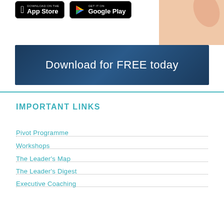[Figure (screenshot): App Store and Google Play download buttons with hand holding phone]
[Figure (infographic): Dark blue banner reading 'Download for FREE today']
IMPORTANT LINKS
Pivot Programme
Workshops
The Leader's Map
The Leader's Digest
Executive Coaching